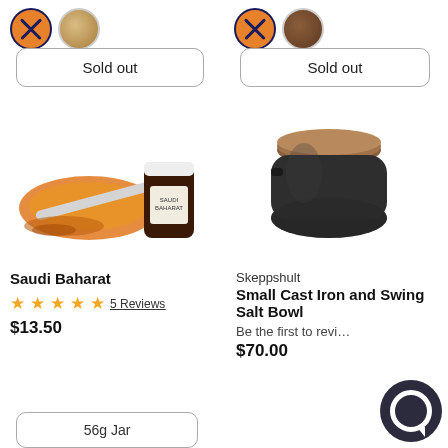[Figure (other): Color swatches for left product: orange with X (sold out) and gold/brass swatch]
[Figure (other): Color swatches for right product: brown with X (sold out) and walnut wood swatch]
Sold out
Sold out
[Figure (photo): Saudi Baharat spice on a scoop with a small brown jar labeled Saudi Baharat]
[Figure (photo): Skeppshult small cast iron salt bowl with wooden lid, black round container]
Saudi Baharat
★★★★★ 5 Reviews
$13.50
Skeppshult
Small Cast Iron and Swing Salt Bowl
Be the first to revi...
$70.00
56g Jar